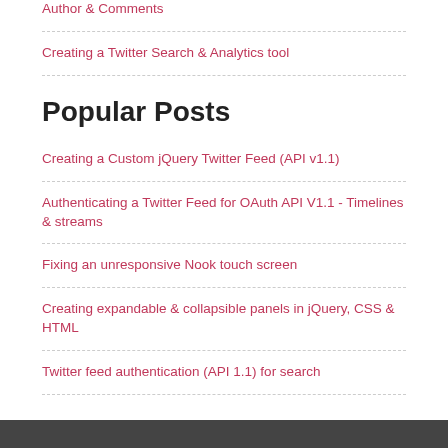Author & Comments
Creating a Twitter Search & Analytics tool
Popular Posts
Creating a Custom jQuery Twitter Feed (API v1.1)
Authenticating a Twitter Feed for OAuth API V1.1 - Timelines & streams
Fixing an unresponsive Nook touch screen
Creating expandable & collapsible panels in jQuery, CSS & HTML
Twitter feed authentication (API 1.1) for search